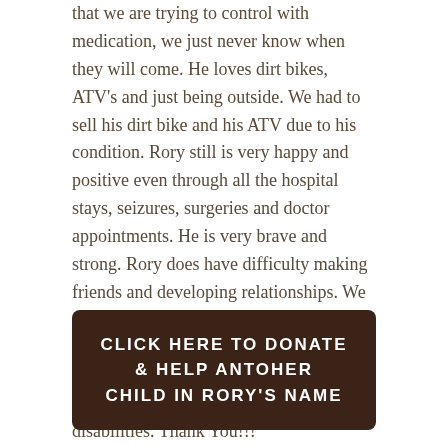that we are trying to control with medication, we just never know when they will come. He loves dirt bikes, ATV's and just being outside. We had to sell his dirt bike and his ATV due to his condition. Rory still is very happy and positive even through all the hospital stays, seizures, surgeries and doctor appointments. He is very brave and strong. Rory does have difficulty making friends and developing relationships. We are hoping that a service dog will be a companion to Rory so he can feel more secure, at ease, make more friends and live life to the fullest even with his disabilities. Thank You!!!
CLICK HERE TO DONATE & HELP ANTOHER CHILD IN RORY'S NAME